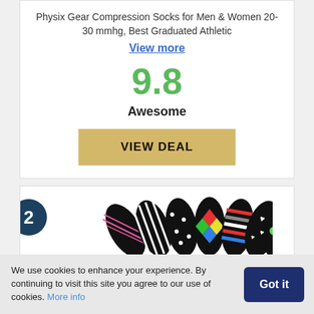Physix Gear Compression Socks for Men & Women 20-30 mmhg, Best Graduated Athletic
View more
9.8
Awesome
VIEW DEAL
[Figure (photo): Ranked item #2 showing a fan of patterned black compression socks with various colorful designs]
We use cookies to enhance your experience. By continuing to visit this site you agree to our use of cookies. More info